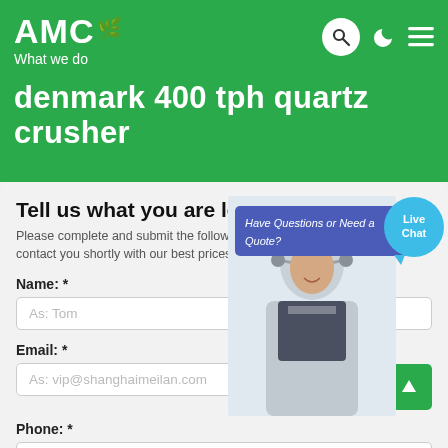AMC
What we do
denmark 400 tph quartz crusher
Tell us what you are looking for?
Please complete and submit the following form and our sales team will contact you shortly with our best prices.
Name: *
As: Tom
Email: *
As: vip@shanghaimeilan.com
Phone: *
With Country Code
[Figure (screenshot): Live chat popup overlay showing a customer service representative, with 'Have Questions or Need a Quote?' banner in blue/purple, a 'CHAT NOW' button, and a 'Live Chat' bubble in blue.]